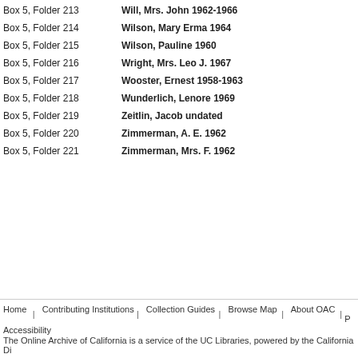Box 5, Folder 213   Will, Mrs. John 1962-1966
Box 5, Folder 214   Wilson, Mary Erma 1964
Box 5, Folder 215   Wilson, Pauline 1960
Box 5, Folder 216   Wright, Mrs. Leo J. 1967
Box 5, Folder 217   Wooster, Ernest 1958-1963
Box 5, Folder 218   Wunderlich, Lenore 1969
Box 5, Folder 219   Zeitlin, Jacob undated
Box 5, Folder 220   Zimmerman, A. E. 1962
Box 5, Folder 221   Zimmerman, Mrs. F. 1962
Home | Contributing Institutions | Collection Guides | Browse Map | About OAC | Accessibility
The Online Archive of California is a service of the UC Libraries, powered by the California Di...